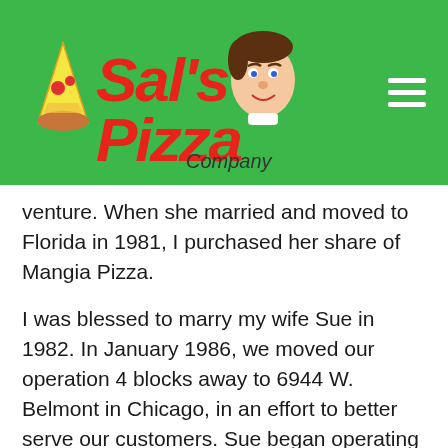[Figure (logo): Sal's Pizza Company logo with cartoon pizza slice and man's face on green background header, with hamburger menu icon on right]
venture. When she married and moved to Florida in 1981, I purchased her share of Mangia Pizza.
I was blessed to marry my wife Sue in 1982. In January 1986, we moved our operation 4 blocks away to 6944 W. Belmont in Chicago, in an effort to better serve our customers. Sue began operating a second location a year later at 210 Grove Street in Arlington Heights. Wanting to devote more time to raising a family, we sold this location after the birth of our...